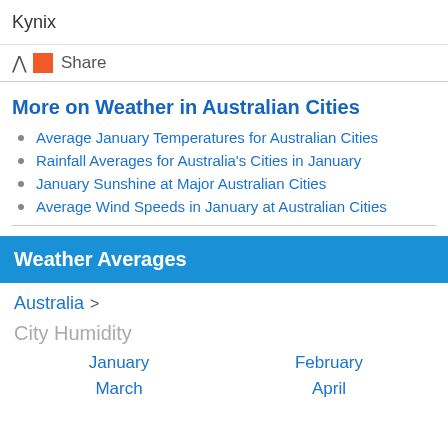Kynix
Share
More on Weather in Australian Cities
Average January Temperatures for Australian Cities
Rainfall Averages for Australia's Cities in January
January Sunshine at Major Australian Cities
Average Wind Speeds in January at Australian Cities
Weather Averages
Australia >
City Humidity
January    February
March    April